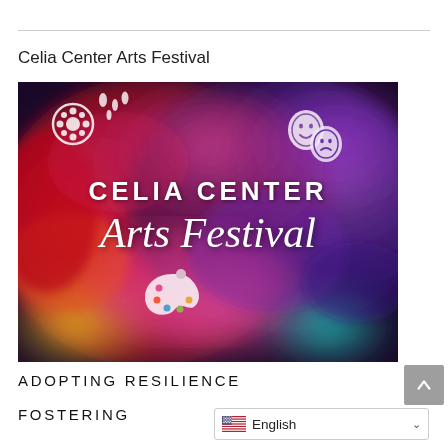Celia Center Arts Festival
[Figure (illustration): Colorful watercolor splash artwork promotional image for the Celia Center Arts Festival, featuring vibrant reds, pinks, blues, and purples with theater masks icon and film reel icon, palette icon, and the text 'CELIA CENTER Arts Festival' in white lettering.]
ADOPTING RESILIENCE
FOSTERING
English